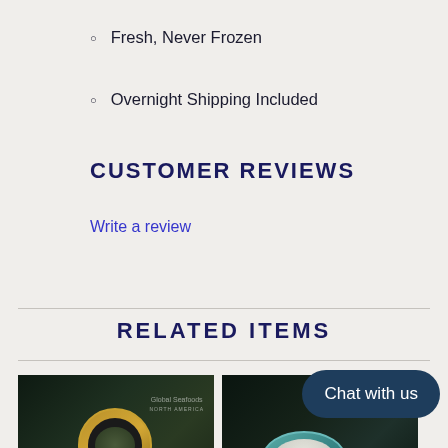Fresh, Never Frozen
Overnight Shipping Included
CUSTOMER REVIEWS
Write a review
RELATED ITEMS
[Figure (photo): Two product photos of Global Seafoods caviar tins side by side]
Chat with us